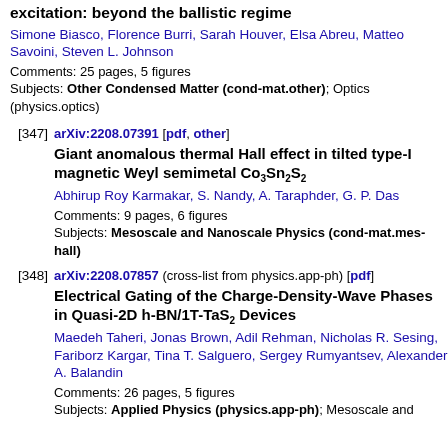excitation: beyond the ballistic regime
Simone Biasco, Florence Burri, Sarah Houver, Elsa Abreu, Matteo Savoini, Steven L. Johnson
Comments: 25 pages, 5 figures
Subjects: Other Condensed Matter (cond-mat.other); Optics (physics.optics)
[347] arXiv:2208.07391 [pdf, other] Giant anomalous thermal Hall effect in tilted type-I magnetic Weyl semimetal Co3Sn2S2 — Abhirup Roy Karmakar, S. Nandy, A. Taraphder, G. P. Das — Comments: 9 pages, 6 figures — Subjects: Mesoscale and Nanoscale Physics (cond-mat.mes-hall)
[348] arXiv:2208.07857 (cross-list from physics.app-ph) [pdf] Electrical Gating of the Charge-Density-Wave Phases in Quasi-2D h-BN/1T-TaS2 Devices — Maedeh Taheri, Jonas Brown, Adil Rehman, Nicholas R. Sesing, Fariborz Kargar, Tina T. Salguero, Sergey Rumyantsev, Alexander A. Balandin — Comments: 26 pages, 5 figures — Subjects: Applied Physics (physics.app-ph); Mesoscale and